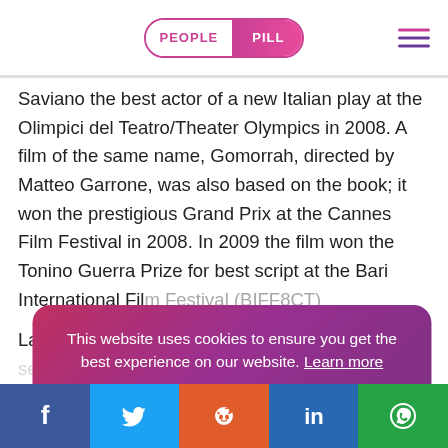PEOPLE PILL
Saviano the best actor of a new Italian play at the Olimpici del Teatro/Theater Olympics in 2008. A film of the same name, Gomorrah, directed by Matteo Garrone, was also based on the book; it won the prestigious Grand Prix at the Cannes Film Festival in 2008. In 2009 the film won the Tonino Guerra Prize for best script at the Bari International Film Festival (BIFF8CT)
Later on, a te[...] (s) was produced [...] a Film and LA7, [...] he direction of S[...] f
[Figure (infographic): Cookie consent banner with gradient purple-pink background. Text: 'This website uses cookies to ensure you get the best experience on our website. Learn more'. Button: 'Got it!']
Facebook | Twitter | Reddit | LinkedIn | WhatsApp